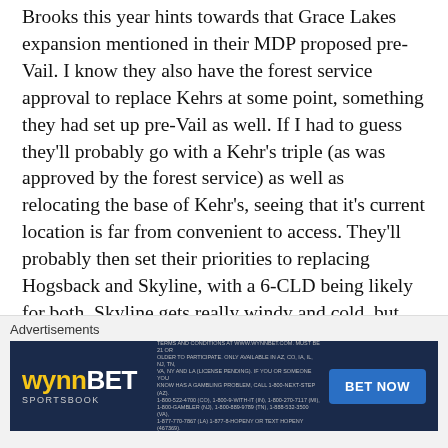Brooks this year hints towards that Grace Lakes expansion mentioned in their MDP proposed pre-Vail. I know they also have the forest service approval to replace Kehrs at some point, something they had set up pre-Vail as well. If I had to guess they'll probably go with a Kehr's triple (as was approved by the forest service) as well as relocating the base of Kehr's, seeing that it's current location is far from convenient to access. They'll probably then set their priorities to replacing Hogsback and Skyline, with a 6-CLD being likely for both. Skyline gets really windy and cold, but seeing that Rob Katz isn't a big fan of bubbles I don't think we'll see any solution to that anytime soon. Beyond the main lifts, I wouldn't be surprised if we saw a replacement of that old rope tow they've got at the base with a magic carpet, and if they choose not to relocate the base of Kehr's as I imagined
Advertisements
[Figure (screenshot): WynnBET Sportsbook advertisement banner with dark blue background, logo on left, fine print in center, and BET NOW button on right]